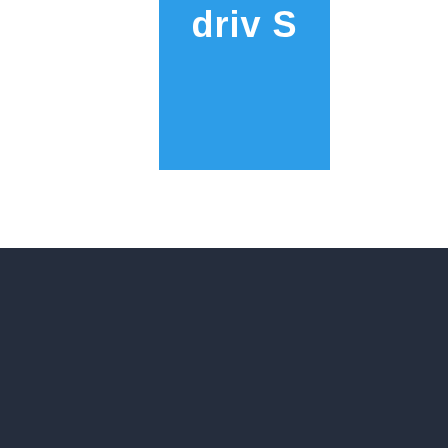[Figure (other): Partial blue box with white text partially visible at the top, cropped.]
Livestock & Pets
Sheep
Alpacas
Other species
The Basics
Cattle
Goats